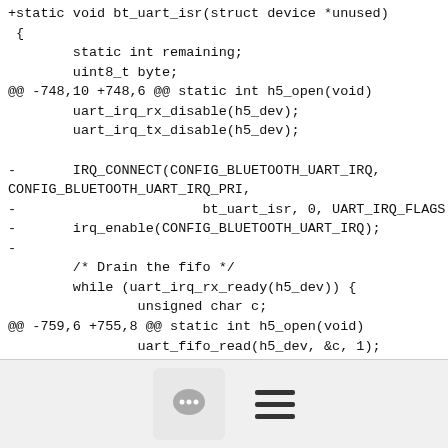+static void bt_uart_isr(struct device *unused)
 {
         static int remaining;
         uint8_t byte;
@@ -748,10 +748,6 @@ static int h5_open(void)
         uart_irq_rx_disable(h5_dev);
         uart_irq_tx_disable(h5_dev);

 -       IRQ_CONNECT(CONFIG_BLUETOOTH_UART_IRQ, CONFIG_BLUETOOTH_UART_IRQ_PRI,
 -                       bt_uart_isr, 0, UART_IRQ_FLAGS);
 -       irq_enable(CONFIG_BLUETOOTH_UART_IRQ);
 -
         /* Drain the fifo */
         while (uart_irq_rx_ready(h5_dev)) {
                 unsigned char c;
@@ -759,6 +755,8 @@ static int h5_open(void)
                 uart_fifo_read(h5_dev, &c, 1);
         }
[Figure (other): Footer bar with chat bubble icon button and hamburger menu icon]